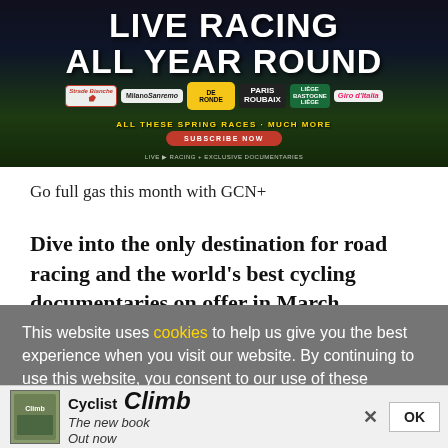[Figure (illustration): GCN+ cycling streaming service banner advertisement showing cyclists racing with text 'LIVE RACING ALL YEAR ROUND', race logos for Strade Bianche, Milano Sanremo, De Ronde, Paris Roubaix, Liege-Bastogne-Liege, and Giro d'Italia, with 'ALL THESE SPRING RACES + MUCH MORE' and 'SUBSCRIBE NOW' button]
Go full gas this month with GCN+
Dive into the only destination for road racing and the world's best cycling documentaries on offer in March
This website uses cookies to help us give you the best experience when you visit our website. By continuing to use this website, you consent to our use of these cookies.
[Figure (illustration): Bottom advertisement strip for book 'Cyclist Climb - The new book Out now' with book cover image on the left, close button X and OK button on the right]